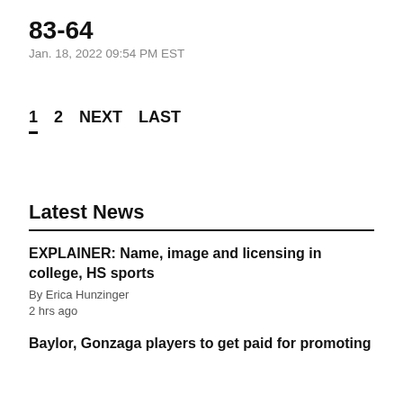83-64
Jan. 18, 2022 09:54 PM EST
1  2  NEXT  LAST
Latest News
EXPLAINER: Name, image and licensing in college, HS sports
By Erica Hunzinger
2 hrs ago
Baylor, Gonzaga players to get paid for promoting